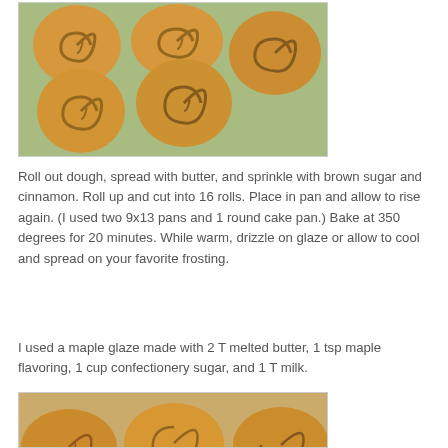[Figure (photo): Photo of unbaked cinnamon rolls arranged on a baking pan, showing spiral swirl pattern with cinnamon filling, golden dough color.]
Roll out dough, spread with butter, and sprinkle with brown sugar and cinnamon. Roll up and cut into 16 rolls. Place in pan and allow to rise again. (I used two 9x13 pans and 1 round cake pan.) Bake at 350 degrees for 20 minutes. While warm, drizzle on glaze or allow to cool and spread on your favorite frosting.
I used a maple glaze made with 2 T melted butter, 1 tsp maple flavoring, 1 cup confectionery sugar, and 1 T milk.
[Figure (photo): Photo of baked golden-brown crescent rolls or cinnamon rolls on a baking pan, partially visible at the bottom of the page.]